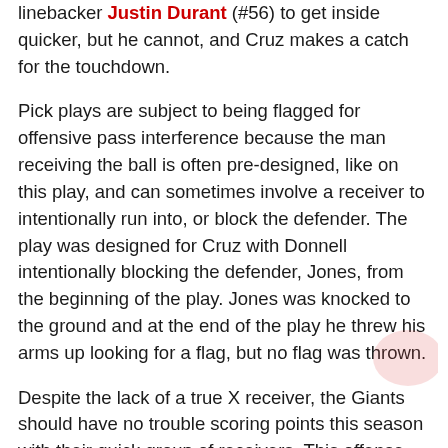linebacker Justin Durant (#56) to get inside quicker, but he cannot, and Cruz makes a catch for the touchdown.
Pick plays are subject to being flagged for offensive pass interference because the man receiving the ball is often pre-designed, like on this play, and can sometimes involve a receiver to intentionally run into, or block the defender. The play was designed for Cruz with Donnell intentionally blocking the defender, Jones, from the beginning of the play. Jones was knocked to the ground and at the end of the play he threw his arms up looking for a flag, but no flag was thrown.
Despite the lack of a true X receiver, the Giants should have no trouble scoring points this season with their quick group of receivers. This offense will take what’s given to them according to how the defense lines up, as well as take their shots down field with one of the NFL’s most talented receivers in Beckham. Expect rub and pick routes when space tightens in the red zone as they’ll want every opportunity to be able to utilize their receivers’ quickness. The only concern with the group is its depth, as they are relying on Cruz, who has not proven he can